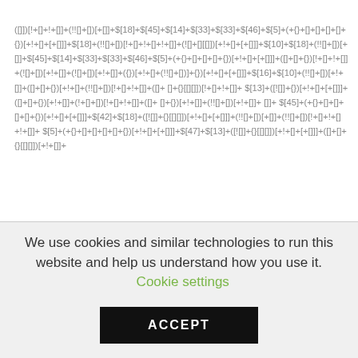([]])[!+[]+!+[]]+(!![]+[])[+[]]+$[18]+$[45]+$[14]+$[33]+$[33]+$[46]+$[5]+(+{}+[]+[]+[]+[]+{})[+!+[]+[+[]]]+$[18]+(!![]+[])[!+[]+!+[]+!+[]]+(![]+[][[]])[+!+[]+[+[]]]+$[10]+$[18]+(!![]+[])[+[]]+$[45]+$[14]+$[33]+$[33]+$[46]+$[5]+(+{}+[]+[]+[]+{})[+!+[]+[+[]]]+([]+[]+{})[!+[]+!+[]]+(![]+[])[+!+[]]+(![]+[])[+!+[]]+({})[+!+[]+(!![]+[])]+{})[+!+[]+[+[]]]+$[16]+$[10]+(!![]+[])[+!+[]]+([]+ []+{})[+!+[]+(!![]+[])[!+[]+!+[]]+([]+ []+{}[[][]])[!+[]+!+[]]+ $[13]+([![]]+{})[+!+[]+[+[]]]+([]+[]+{})[+!+[]]+(!+[]+[])[!+[]+!+[]]+([]+ []+{})[+!+[]]+(!![]+[])[+!+[]]+ []]+ $[45]+(+{}+[]+[]+[]+[]+{})[+!+[]+[+[]]]+$[42]+$[18]+([![]]+{}[[][]])[+!+[]+[+[]]]+(!![]+[])[+[]]+(!![]+[])[!+[]+!+[]+!+[]]+ $[5]+(+{}+[]+[]+[]+[]+{})[+!+[]+[+[]]]+$[47]+$[13]+([![]]+{}[[][]])[+!+[]+[+[]]]+([]+[]+{}[[][]])[+!+[]]]+
We use cookies and similar technologies to run this website and help us understand how you use it. Cookie settings
ACCEPT